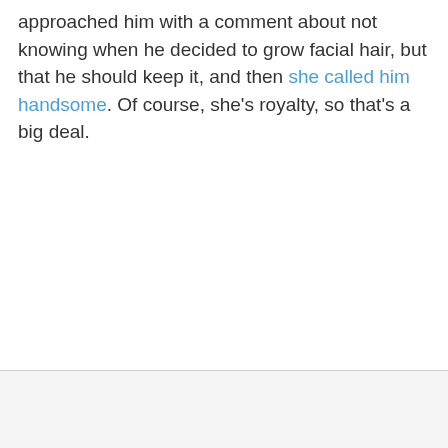approached him with a comment about not knowing when he decided to grow facial hair, but that he should keep it, and then she called him handsome. Of course, she's royalty, so that's a big deal.
[Figure (infographic): Advertisement banner: Summer Savings on Brakes - Virginia Tire & Auto of Ashburn, with tire auto logo and directional arrow icon]